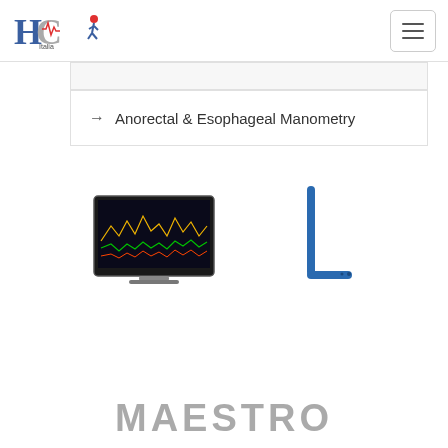HC Italia logo and navigation menu
→ Anorectal & Esophageal Manometry
[Figure (photo): Medical manometry device monitor with colorful waveform display on screen, shown at slight angle]
[Figure (photo): Blue L-shaped medical catheter or probe instrument]
MAESTRO